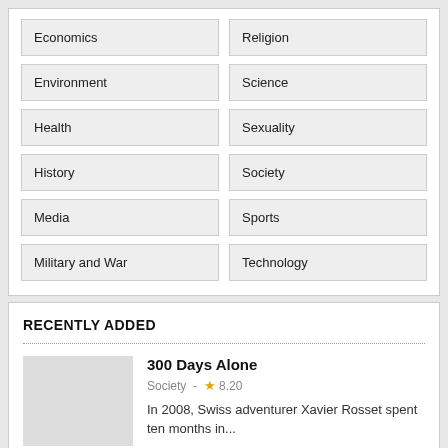Economics
Religion
Environment
Science
Health
Sexuality
History
Society
Media
Sports
Military and War
Technology
RECENTLY ADDED
300 Days Alone
Society  -  ★ 8.20
In 2008, Swiss adventurer Xavier Rosset spent ten months in...